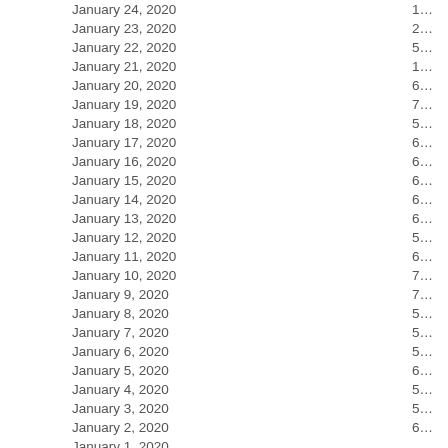| Date | Value |
| --- | --- |
| January 24, 2020 | 1… |
| January 23, 2020 | 2… |
| January 22, 2020 | 5… |
| January 21, 2020 | 1… |
| January 20, 2020 | 6… |
| January 19, 2020 | 7… |
| January 18, 2020 | 5… |
| January 17, 2020 | 6… |
| January 16, 2020 | 6… |
| January 15, 2020 | 6… |
| January 14, 2020 | 6… |
| January 13, 2020 | 6… |
| January 12, 2020 | 5… |
| January 11, 2020 | 6… |
| January 10, 2020 | 7… |
| January 9, 2020 | 7… |
| January 8, 2020 | 5… |
| January 7, 2020 | 5… |
| January 6, 2020 | 5… |
| January 5, 2020 | 6… |
| January 4, 2020 | 5… |
| January 3, 2020 | 5… |
| January 2, 2020 | 6… |
| January 1, 2020 | … |